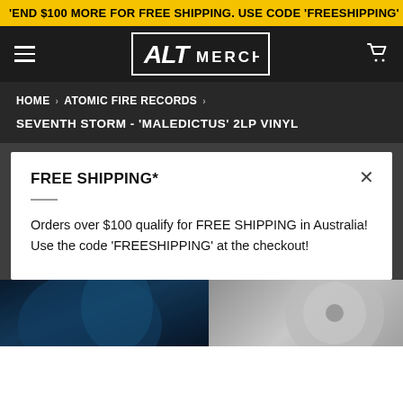'END $100 MORE FOR FREE SHIPPING. USE CODE 'FREESHIPPING'
[Figure (logo): ALT MERCH logo in white on dark background with rectangular border]
HOME › ATOMIC FIRE RECORDS ›
SEVENTH STORM - 'MALEDICTUS' 2LP VINYL
FREE SHIPPING*
Orders over $100 qualify for FREE SHIPPING in Australia!
Use the code 'FREESHIPPING' at the checkout!
[Figure (photo): Bottom portion of product page showing album artwork images - dark blue illustration on left, grey vinyl on right]